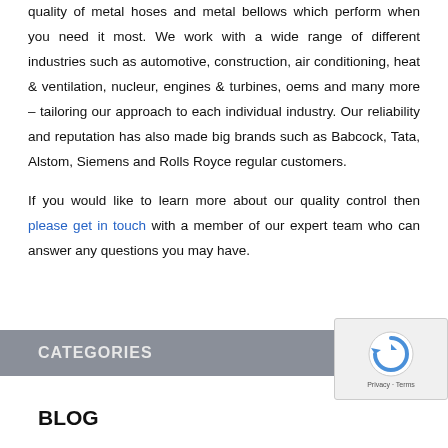quality of metal hoses and metal bellows which perform when you need it most. We work with a wide range of different industries such as automotive, construction, air conditioning, heat & ventilation, nucleur, engines & turbines, oems and many more – tailoring our approach to each individual industry. Our reliability and reputation has also made big brands such as Babcock, Tata, Alstom, Siemens and Rolls Royce regular customers.
If you would like to learn more about our quality control then please get in touch with a member of our expert team who can answer any questions you may have.
CATEGORIES
BLOG